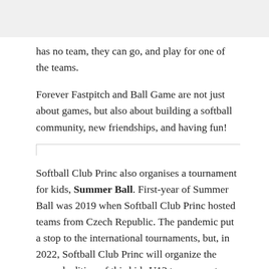has no team, they can go, and play for one of the teams.
Forever Fastpitch and Ball Game are not just about games, but also about building a softball community, new friendships, and having fun!
Softball Club Princ also organises a tournament for kids, Summer Ball. First-year of Summer Ball was 2019 when Softball Club Princ hosted teams from Czech Republic. The pandemic put a stop to the international tournaments, but, in 2022, Softball Club Princ will organize the second edition of this kids U13 tournament from 5th to 7th of August.